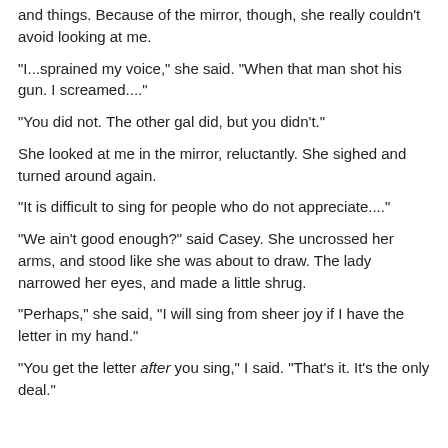and things. Because of the mirror, though, she really couldn't avoid looking at me.
"I...sprained my voice," she said. "When that man shot his gun. I screamed...."
"You did not. The other gal did, but you didn't."
She looked at me in the mirror, reluctantly. She sighed and turned around again.
"It is difficult to sing for people who do not appreciate...."
"We ain't good enough?" said Casey. She uncrossed her arms, and stood like she was about to draw. The lady narrowed her eyes, and made a little shrug.
"Perhaps," she said, "I will sing from sheer joy if I have the letter in my hand."
"You get the letter after you sing," I said. "That's it. It's the only deal."